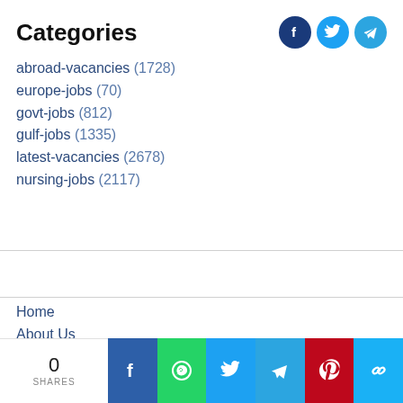Categories
abroad-vacancies (1728)
europe-jobs (70)
govt-jobs (812)
gulf-jobs (1335)
latest-vacancies (2678)
nursing-jobs (2117)
Home
About Us
Privacy Policy
Sitemap
Terms & Conditions
Disclaimer
Signup
0 SHARES